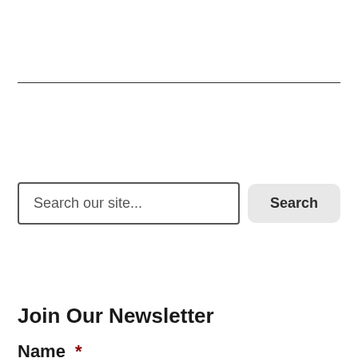[Figure (other): Horizontal divider line separating page sections]
Search our site...
Search
Join Our Newsletter
Name *